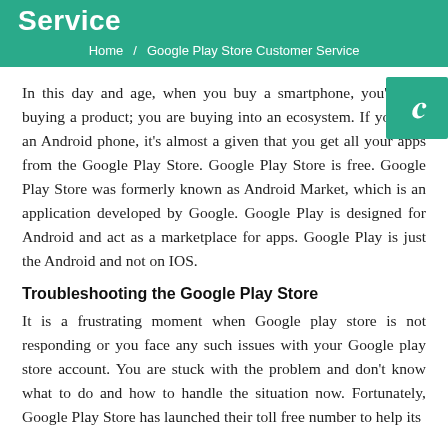Service
Home / Google Play Store Customer Service
In this day and age, when you buy a smartphone, you're not buying a product; you are buying into an ecosystem. If you buy an Android phone, it's almost a given that you get all your apps from the Google Play Store. Google Play Store is free. Google Play Store was formerly known as Android Market, which is an application developed by Google. Google Play is designed for Android and act as a marketplace for apps. Google Play is just the Android and not on IOS.
Troubleshooting the Google Play Store
It is a frustrating moment when Google play store is not responding or you face any such issues with your Google play store account. You are stuck with the problem and don't know what to do and how to handle the situation now. Fortunately, Google Play Store has launched their toll free number to help its